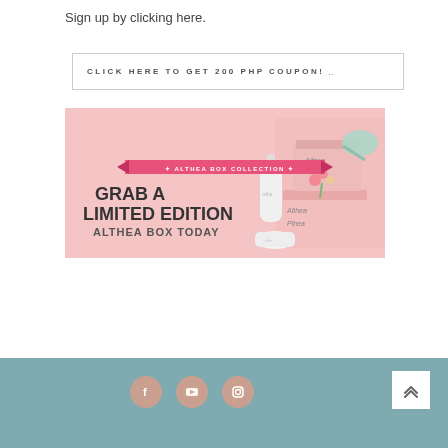Sign up by clicking here.
CLICK HERE TO GET 200 PHP COUPON! ..
[Figure (illustration): Althea Box Collection banner: pink background with beauty products (skincare bottle, cream jar, jade roller), pink gift boxes with Althea branding, flowers. Text reads: ALTHEA BOX COLLECTION - GRAB A LIMITED EDITION ALTHEA BOX TODAY]
[Figure (other): Page footer with teal/muted blue-green background containing three social media icon circles (Facebook, YouTube, Instagram) in dusty rose/mauve color, and a white back-to-top button with upward chevron arrows on the right side.]